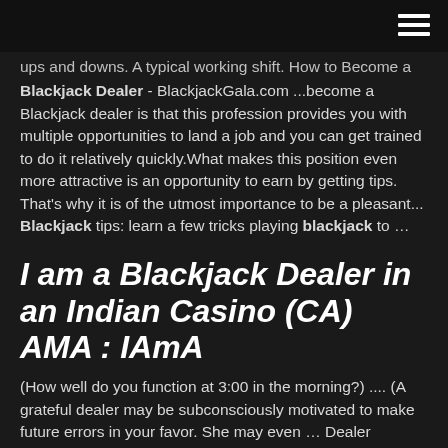ups and downs. A typical working shift. How to Become a Blackjack Dealer - BlackjackGala.com ...become a Blackjack dealer is that this profession provides you with multiple opportunities to land a job and you can get trained to do it relatively quickly.What makes this position even more attractive is an opportunity to earn by getting tips. That's why it is of the utmost importance to be a pleasant... Blackjack tips: learn a few tricks playing blackjack to …
I am a Blackjack Dealer in an Indian Casino (CA) AMA : IAmA
(How well do you function at 3:00 in the morning?) .... (A grateful dealer may be subconsciously motivated to make future errors in your favor. She may even … Dealer Mistakes